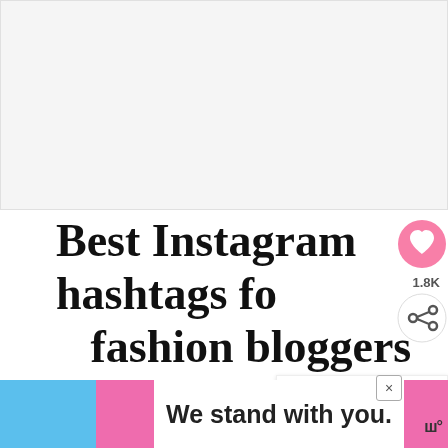[Figure (other): Blank/white placeholder image area at the top of the page]
Best Instagram hashtags for fashion bloggers
There are tons and tons of fashion bloggers out there, and you can find all kinds of styles
[Figure (infographic): What's Next panel showing thumbnail and label 'The Best Hashtags fo...' with orange header 'WHAT'S NEXT →']
[Figure (other): Ad banner reading 'We stand with you.' with blue and pink color blocks and a close (×) button]